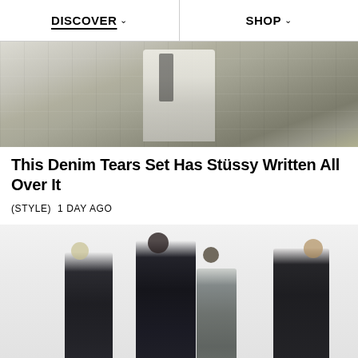DISCOVER  SHOP
[Figure (photo): Person wearing white denim set with graphic text/illustration prints, standing on a street sidewalk]
This Denim Tears Set Has Stüssy Written All Over It
(STYLE)  1 DAY AGO
[Figure (photo): Four male models wearing dark formal/tailored outfits against a light grey background]